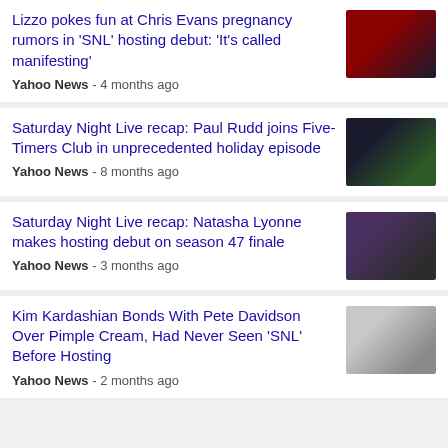Lizzo pokes fun at Chris Evans pregnancy rumors in 'SNL' hosting debut: 'It's called manifesting'
Yahoo News - 4 months ago
Saturday Night Live recap: Paul Rudd joins Five-Timers Club in unprecedented holiday episode
Yahoo News - 8 months ago
Saturday Night Live recap: Natasha Lyonne makes hosting debut on season 47 finale
Yahoo News - 3 months ago
Kim Kardashian Bonds With Pete Davidson Over Pimple Cream, Had Never Seen 'SNL' Before Hosting
Yahoo News - 2 months ago